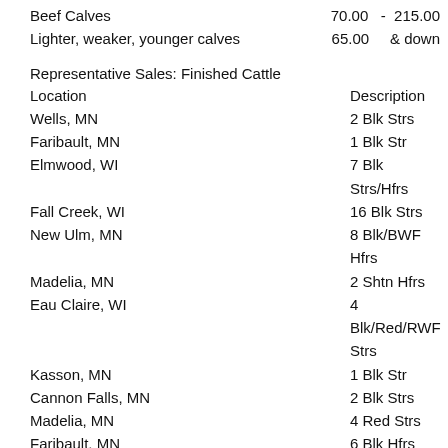Beef Calves   70.00  -  215.00
Lighter, weaker, younger calves   65.00   & down
Representative Sales: Finished Cattle
| Location | Description |
| --- | --- |
| Wells, MN | 2 Blk Strs |
| Faribault, MN | 1 Blk Str |
| Elmwood, WI | 7 Blk Strs/Hfrs |
| Fall Creek, WI | 16 Blk Strs |
| New Ulm, MN | 8 Blk/BWF Hfrs |
| Madelia, MN | 2 Shtn Hfrs |
| Eau Claire, WI | 4 Blk/Red/RWF Strs |
| Kasson, MN | 1 Blk Str |
| Cannon Falls, MN | 2 Blk Strs |
| Madelia, MN | 4 Red Strs |
| Faribault, MN | 6 Blk Hfrs |
| Wells, MN | 7 Xbred Hfrs |
| Prescott, WI | 4 Blk Strs |
| Welch, MN | 1 Blk Hfr |
| Faribault, MN | 4 Xbred Hfrs |
| Menomonie, WI | 6 Blk/BWF Strs |
| Kasson, MN | 3 Blk Strs |
| Goodhue, MN | 1 RWF Str |